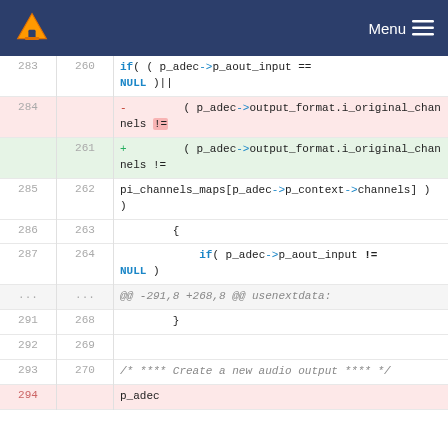VLC Menu
[Figure (screenshot): VLC source code diff view showing changes to audio decoder channel format checking code. Lines 283-294 shown with deleted (red) and added (green) diff lines.]